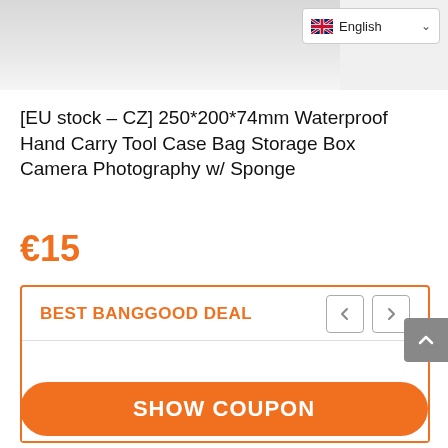[Figure (photo): Partial product image of a waterproof hand carry tool case bag, shown at top of page, cropped]
English (language selector dropdown)
[EU stock – CZ] 250*200*74mm Waterproof Hand Carry Tool Case Bag Storage Box Camera Photography w/ Sponge
€15
BEST BANGGOOD DEAL
SHOW COUPON